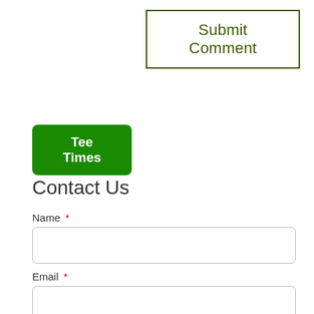Submit Comment
Tee Times
Contact Us
Name *
Email *
Phone #